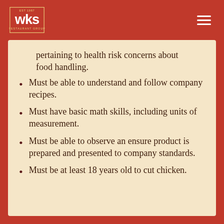WKS Restaurant Group
pertaining to health risk concerns about food handling.
Must be able to understand and follow company recipes.
Must have basic math skills, including units of measurement.
Must be able to observe an ensure product is prepared and presented to company standards.
Must be at least 18 years old to cut chicken.